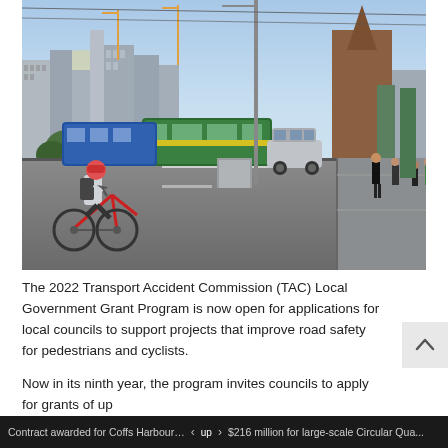[Figure (photo): Street-level photo of a cyclist on a road in Melbourne CBD, with trams, cars, pedestrians, and city skyline including Federation Square spire in background. Taken from a bridge or elevated roadway.]
The 2022 Transport Accident Commission (TAC) Local Government Grant Program is now open for applications for local councils to support projects that improve road safety for pedestrians and cyclists.
Now in its ninth year, the program invites councils to apply for grants of up
Contract awarded for Coffs Harbour Bypa...    <  up  >    $216 million for large-scale Circular Qua...